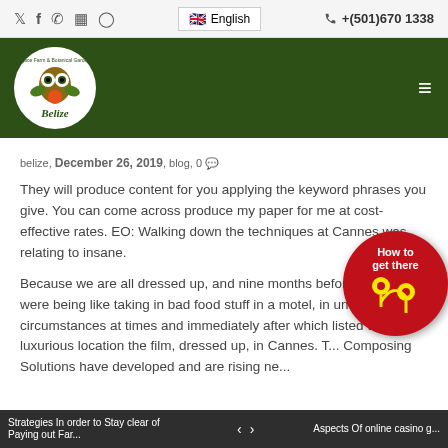Social icons: Twitter, Facebook, WhatsApp, Flickr, Instagram | English | +(501)670 1338
[Figure (logo): Belize Spice Farm & Botanical Garden circular logo with owl and fruit on dark green header background]
belize, December 26, 2019, blog, 0
They will produce content for you applying the keyword phrases you give. You can come across produce my paper for me at cost-effective rates. EO: Walking down the techniques at Cannes was relating to insane.
Because we are all dressed up, and nine months before that we were being like taking in bad food stuff in a motel, in uncomfortable circumstances at times and immediately after which listed this luxurious location the film, dressed up, in Cannes. T... Composing Solutions have developed and are rising ne...
[Figure (illustration): Red circular badge with 'How to get there' text in white/yellow and yellow location pin arrows]
Strategies In order to Stay clear of Paying out Far... | < > | Aspects Of online casino g...